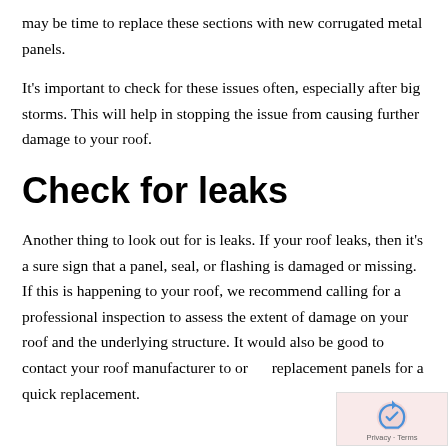may be time to replace these sections with new corrugated metal panels.
It's important to check for these issues often, especially after big storms. This will help in stopping the issue from causing further damage to your roof.
Check for leaks
Another thing to look out for is leaks. If your roof leaks, then it's a sure sign that a panel, seal, or flashing is damaged or missing. If this is happening to your roof, we recommend calling for a professional inspection to assess the extent of damage on your roof and the underlying structure. It would also be good to contact your roof manufacturer to order replacement panels for a quick replacement.